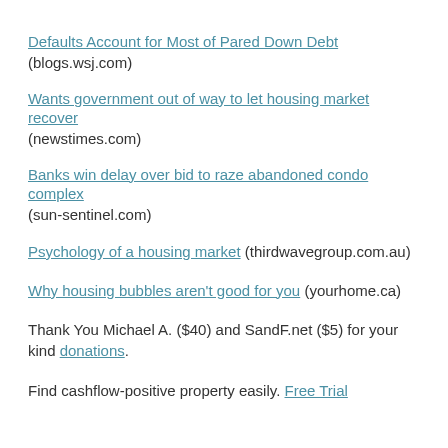Defaults Account for Most of Pared Down Debt (blogs.wsj.com)
Wants government out of way to let housing market recover (newstimes.com)
Banks win delay over bid to raze abandoned condo complex (sun-sentinel.com)
Psychology of a housing market (thirdwavegroup.com.au)
Why housing bubbles aren't good for you (yourhome.ca)
Thank You Michael A. ($40) and SandF.net ($5) for your kind donations.
Find cashflow-positive property easily. Free Trial